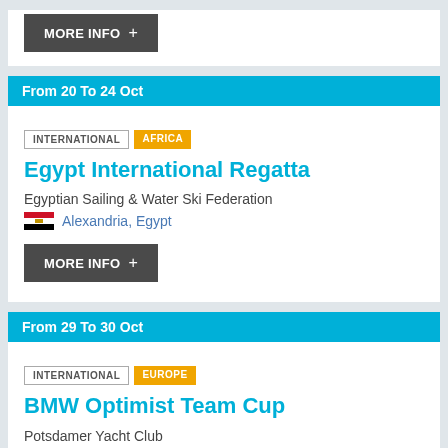MORE INFO +
From 20 To 24 Oct
INTERNATIONAL   AFRICA
Egypt International Regatta
Egyptian Sailing & Water Ski Federation
Alexandria, Egypt
MORE INFO +
From 29 To 30 Oct
INTERNATIONAL   EUROPE
BMW Optimist Team Cup
Potsdamer Yacht Club
Wannsee, Germany